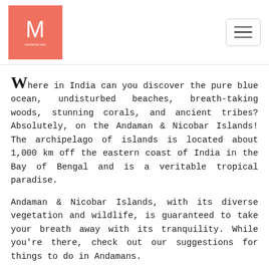[Figure (logo): Salmon/coral colored square logo with white stylized M letter and small text below reading mymasur.com or similar]
Where in India can you discover the pure blue ocean, undisturbed beaches, breath-taking woods, stunning corals, and ancient tribes? Absolutely, on the Andaman & Nicobar Islands! The archipelago of islands is located about 1,000 km off the eastern coast of India in the Bay of Bengal and is a veritable tropical paradise.
Andaman & Nicobar Islands, with its diverse vegetation and wildlife, is guaranteed to take your breath away with its tranquility. While you're there, check out our suggestions for things to do in Andamans.